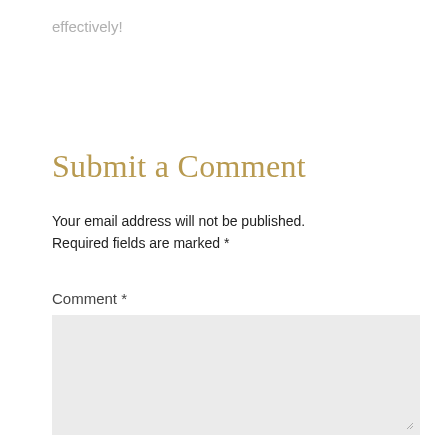effectively!
Submit a Comment
Your email address will not be published. Required fields are marked *
Comment *